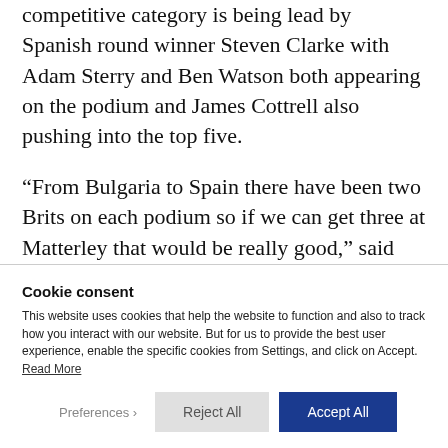competitive category is being lead by Spanish round winner Steven Clarke with Adam Sterry and Ben Watson both appearing on the podium and James Cottrell also pushing into the top five.
“From Bulgaria to Spain there have been two Brits on each podium so if we can get three at Matterley that would be really good,” said
Cookie consent
This website uses cookies that help the website to function and also to track how you interact with our website. But for us to provide the best user experience, enable the specific cookies from Settings, and click on Accept. Read More